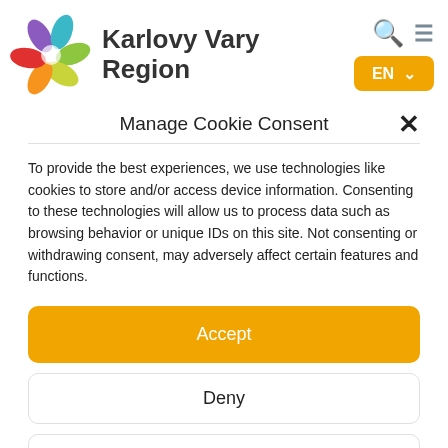[Figure (logo): Karlovy Vary Region colorful pinwheel/flower logo with text 'Karlovy Vary Region']
Manage Cookie Consent
To provide the best experiences, we use technologies like cookies to store and/or access device information. Consenting to these technologies will allow us to process data such as browsing behavior or unique IDs on this site. Not consenting or withdrawing consent, may adversely affect certain features and functions.
Accept
Deny
View preferences
Cookie Policy